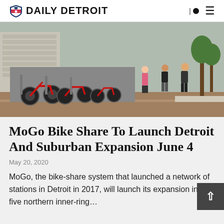DAILY DETROIT
[Figure (photo): Red MoGo bike-share bicycles docked in a station with people in the background on a city street]
MoGo Bike Share To Launch Detroit And Suburban Expansion June 4
May 20, 2020
MoGo, the bike-share system that launched a network of stations in Detroit in 2017, will launch its expansion into five northern inner-ring…